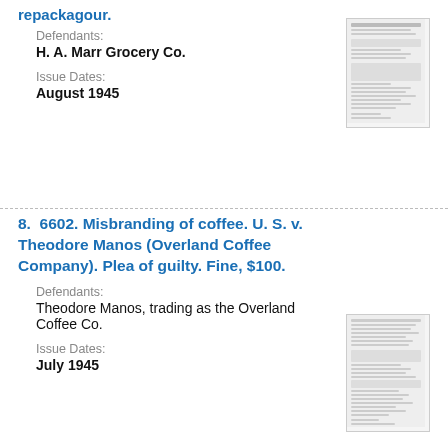repackagour.
Defendants:
H. A. Marr Grocery Co.
Issue Dates:
August 1945
[Figure (photo): Thumbnail image of a legal document]
8. 6602. Misbranding of coffee. U. S. v. Theodore Manos (Overland Coffee Company). Plea of guilty. Fine, $100.
Defendants:
Theodore Manos, trading as the Overland Coffee Co.
Issue Dates:
July 1945
[Figure (photo): Thumbnail image of a legal document]